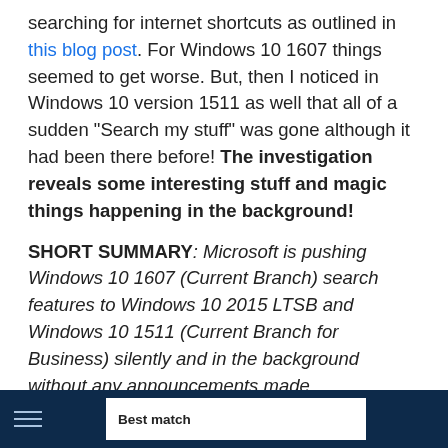searching for internet shortcuts as outlined in this blog post. For Windows 10 1607 things seemed to get worse. But, then I noticed in Windows 10 version 1511 as well that all of a sudden "Search my stuff" was gone although it had been there before! The investigation reveals some interesting stuff and magic things happening in the background!
SHORT SUMMARY: Microsoft is pushing Windows 10 1607 (Current Branch) search features to Windows 10 2015 LTSB and Windows 10 1511 (Current Branch for Business) silently and in the background without any announcements made.
Search in 1511 (as when Windows 10 entered Current Branch for Business and as long it has not been connected to the Internet):
[Figure (screenshot): Screenshot of Windows 10 search interface showing dark blue taskbar background with a white 'Best match' panel]